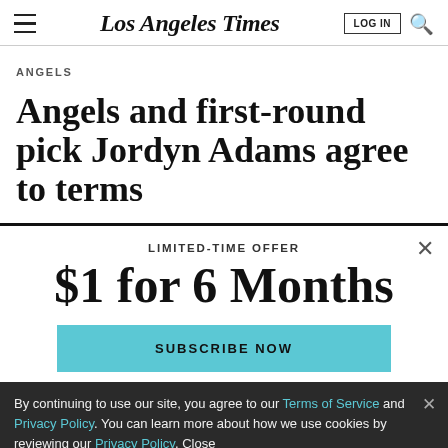Los Angeles Times | LOG IN
ANGELS
Angels and first-round pick Jordyn Adams agree to terms
LIMITED-TIME OFFER
$1 for 6 Months
SUBSCRIBE NOW
By continuing to use our site, you agree to our Terms of Service and Privacy Policy. You can learn more about how we use cookies by reviewing our Privacy Policy. Close